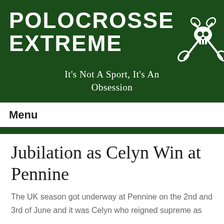POLOCROSSE EXTREME
[Figure (illustration): Skull with crossed polocrosse mallets logo in white on dark green background]
It's Not A Sport, It's An Obsession
Menu
Jubilation as Celyn Win at Pennine
The UK season got underway at Pennine on the 2nd and 3rd of June and it was Celyn who reigned supreme as